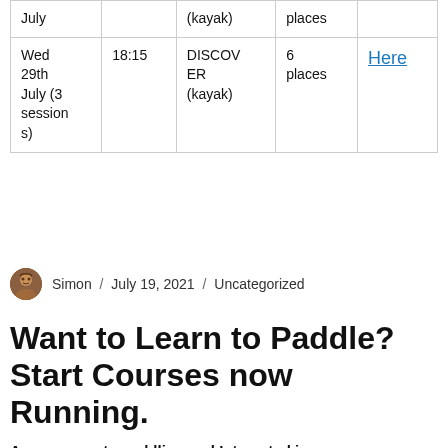| July |  | (kayak) | places |  |
| Wed
29th
July (3
sessions) | 18:15 | DISCOVER
(kayak) | 6 places | Here |
Simon / July 19, 2021 / Uncategorized
Want to Learn to Paddle? Start Courses now Running.
Are you new to paddling and Interested in